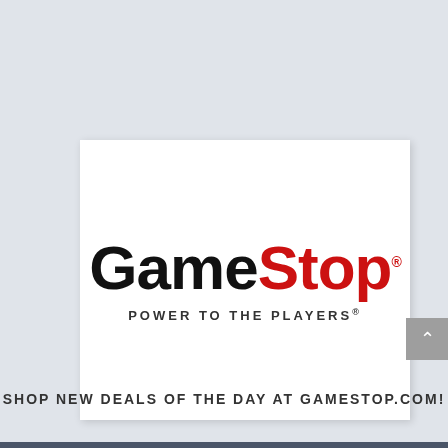[Figure (logo): GameStop logo with black 'Game' and red 'Stop' text, with tagline 'POWER TO THE PLAYERS' below in spaced dark gray uppercase letters]
SHOP NEW DEALS OF THE DAY AT GAMESTOP.COM!